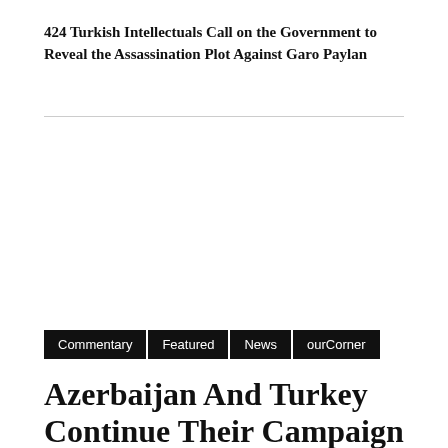424 Turkish Intellectuals Call on the Government to Reveal the Assassination Plot Against Garo Paylan
Commentary
Featured
News
ourCorner
Azerbaijan And Turkey Continue Their Campaign Against